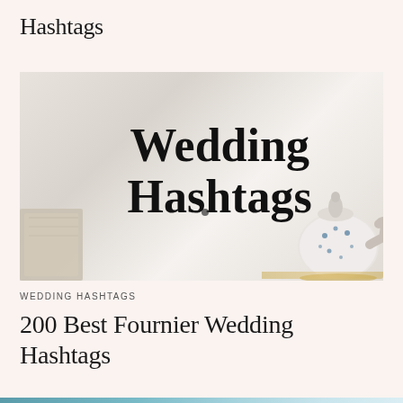Hashtags
[Figure (photo): A styled flat-lay photo with bold text 'Wedding Hashtags' overlaid in large serif font on a white/grey background, with a decorative blue and white teapot on the right and a folded cloth/napkin on the lower left.]
WEDDING HASHTAGS
200 Best Fournier Wedding Hashtags